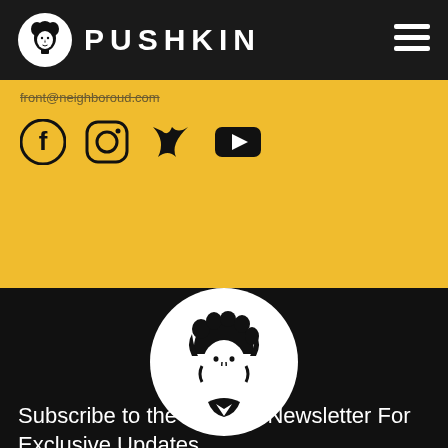PUSHKIN
front@neighboroud.com
[Figure (logo): Social media icons: Facebook, Instagram, Twitter/X, YouTube in black]
[Figure (logo): Pushkin logo: white circle with black line-art illustration of a curly-haired man (Pushkin) from the shoulders up]
Subscribe to the Pushkin Newsletter For Exclusive Updates